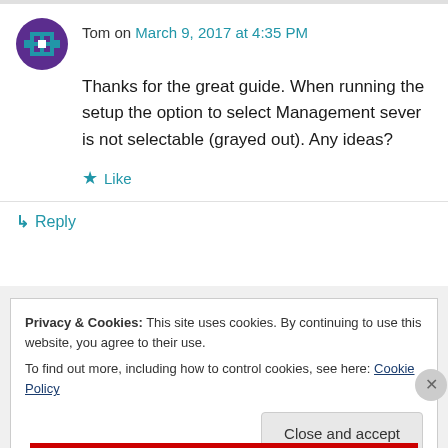Tom on March 9, 2017 at 4:35 PM
Thanks for the great guide. When running the setup the option to select Management sever is not selectable (grayed out). Any ideas?
Like
Reply
Privacy & Cookies: This site uses cookies. By continuing to use this website, you agree to their use.
To find out more, including how to control cookies, see here: Cookie Policy
Close and accept